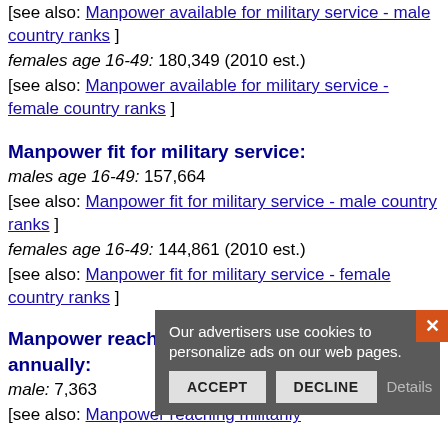[see also: Manpower available for military service - male country ranks ]
females age 16-49: 180,349 (2010 est.)
[see also: Manpower available for military service - female country ranks ]
Manpower fit for military service:
males age 16-49: 157,664
[see also: Manpower fit for military service - male country ranks ]
females age 16-49: 144,861 (2010 est.)
[see also: Manpower fit for military service - female country ranks ]
Manpower reaching militarily significant age annually:
male: 7,363
[see also: Manpower reaching militarily